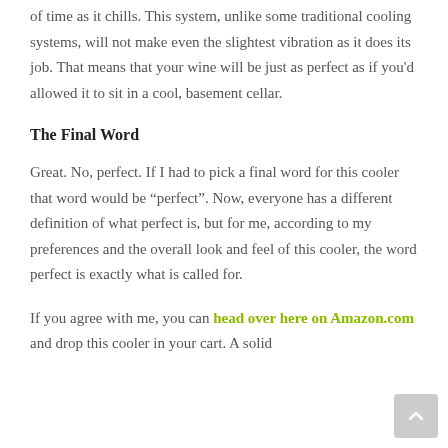of time as it chills. This system, unlike some traditional cooling systems, will not make even the slightest vibration as it does its job. That means that your wine will be just as perfect as if you'd allowed it to sit in a cool, basement cellar.
The Final Word
Great. No, perfect. If I had to pick a final word for this cooler that word would be “perfect”. Now, everyone has a different definition of what perfect is, but for me, according to my preferences and the overall look and feel of this cooler, the word perfect is exactly what is called for.
If you agree with me, you can head over here on Amazon.com and drop this cooler in your cart. A solid ch...